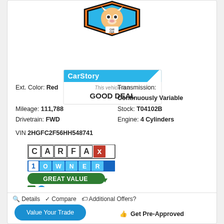[Figure (logo): CARFAX CarFox mascot logo with orange/black shield shape and blue background]
[Figure (infographic): CarStory badge indicating 'This vehicle is a GOOD DEAL' with blue header]
Ext. Color: Red
Mileage: 111,788
Drivetrain: FWD
VIN 2HGFC2F56HH548741
Transmission: Continuously Variable
Stock: T04102B
Engine: 4 Cylinders
[Figure (logo): CARFAX 1 Owner Great Value badge with icons for clean history, 1 owner, personal use, and service records]
Details   Compare   Additional Offers?
Value Your Trade
Get Pre-Approved